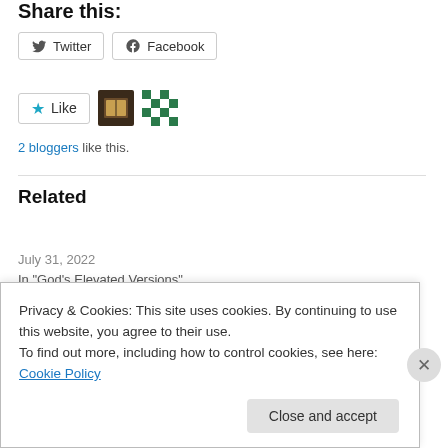Share this:
Twitter  Facebook
[Figure (other): Like button with star icon, two blogger avatars (book image and green checker pattern)]
2 bloggers like this.
Related
Remain unshakeable
July 31, 2022
In "God's Elevated Versions"
The little lamp and the storm
Privacy & Cookies: This site uses cookies. By continuing to use this website, you agree to their use.
To find out more, including how to control cookies, see here: Cookie Policy
Close and accept